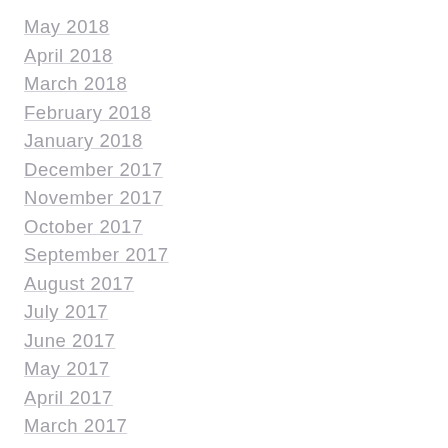May 2018
April 2018
March 2018
February 2018
January 2018
December 2017
November 2017
October 2017
September 2017
August 2017
July 2017
June 2017
May 2017
April 2017
March 2017
February 2017
January 2017
December 2016
November 2016